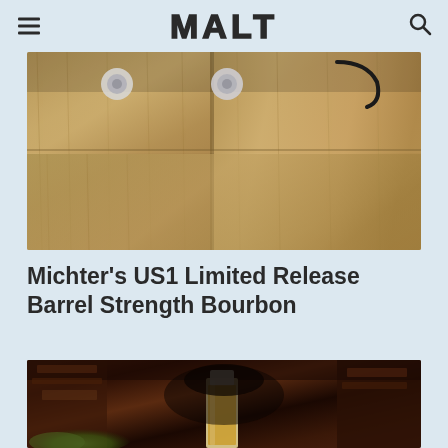MALT
[Figure (photo): Close-up photo of wooden barrel planks with metal hardware visible, warm oak tones]
Michter's US1 Limited Release Barrel Strength Bourbon
[Figure (photo): Photo of a bottle of whisky placed against a background of dark charred wood and bark with moss]